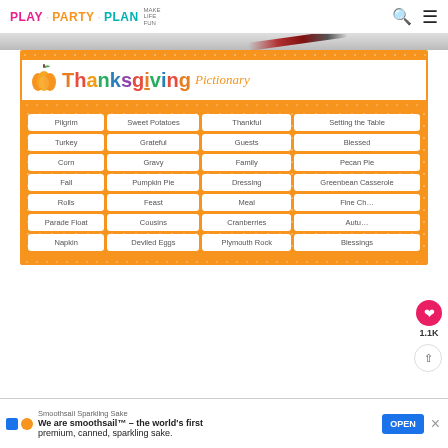PLAY PARTY PLAN | MAKE LIFE FUN
[Figure (photo): Photograph of a Thanksgiving Pictionary printable card game with a red pen resting on top, on a white background]
Thanksgiving Pictionary
| Pilgrim | Sweet Potatoes | Thankful | Setting the Table |
| Turkey | Grateful | Guests | Blessed |
| Corn | Gravy | Family | Pecan Pie |
| Fall | Pumpkin Pie | Dressing | Greenbean Casserole |
| Rolls | Feast | Meal | Fine Ch... |
| Parade Float | Cousins | Cranberries | Autu... |
| Napkin | Deviled Eggs | Plymouth Rock | Blessings |
Smoothsail Sparkling Sake
We are smoothsail™ – the world's first premium, canned, sparkling sake.
OPEN